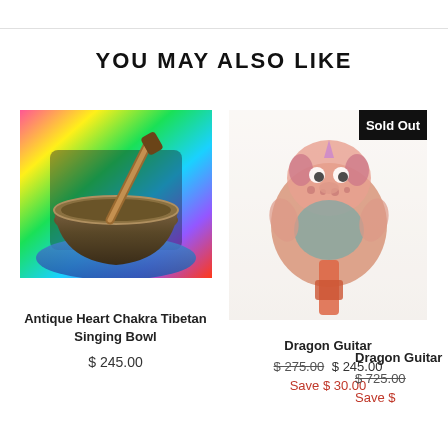YOU MAY ALSO LIKE
[Figure (photo): Antique Heart Chakra Tibetan Singing Bowl - a bronze/brass bowl with a wooden mallet, displayed on colorful fabric background with rainbow-like colors]
Antique Heart Chakra Tibetan Singing Bowl
$ 245.00
[Figure (photo): Dragon Guitar - a colorful wooden dragon puppet/toy instrument, faded out indicating sold out status, with a 'Sold Out' badge in upper right]
Dragon Guitar
$ 275.00  $ 245.00
Save $ 30.00
Dragon Guitar
$ 725.00
Save $